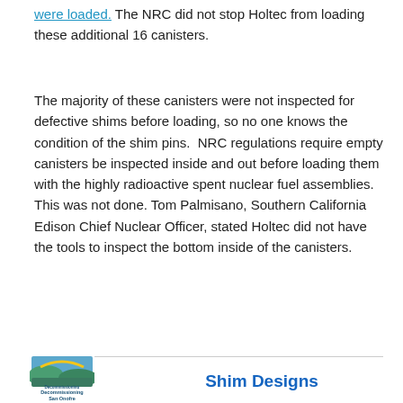were loaded. The NRC did not stop Holtec from loading these additional 16 canisters.
The majority of these canisters were not inspected for defective shims before loading, so no one knows the condition of the shim pins. NRC regulations require empty canisters be inspected inside and out before loading them with the highly radioactive spent nuclear fuel assemblies. This was not done. Tom Palmisano, Southern California Edison Chief Nuclear Officer, stated Holtec did not have the tools to inspect the bottom inside of the canisters.
[Figure (logo): Decommissioning San Onofre Nuclear Generating Station logo]
Shim Designs
[Figure (photo): Two shim design images side by side: Original Design (flat rectangular dark shim) and New Design (dark shim with metal frame/bracket holder)]